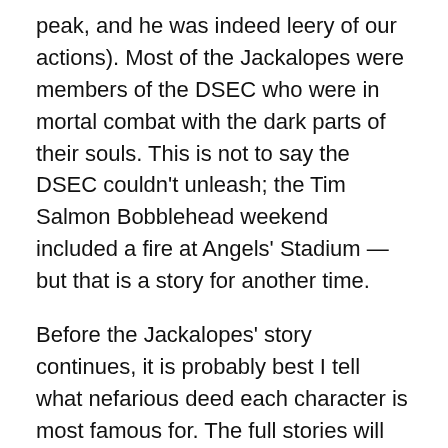peak, and he was indeed leery of our actions). Most of the Jackalopes were members of the DSEC who were in mortal combat with the dark parts of their souls. This is not to say the DSEC couldn't unleash; the Tim Salmon Bobblehead weekend included a fire at Angels' Stadium — but that is a story for another time.
Before the Jackalopes' story continues, it is probably best I tell what nefarious deed each character is most famous for. The full stories will follow later.
Sir Jolters — getting thrown out of Mass on the way to a game for asking a priest if he could put Cleveland Stadium Mustard on Baby Jesus.
Bad Scooter (myself) — sneaking into a WBC game in Scottsdale and getting chased by security. I eluded security, but damn near had a heart attack from the